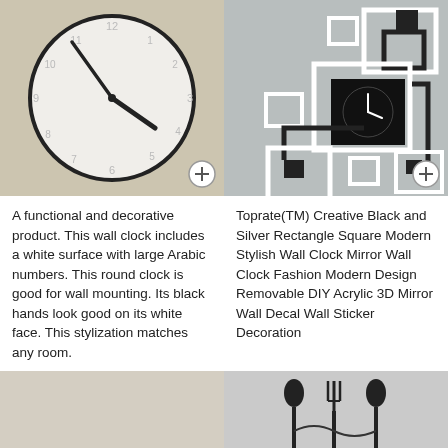[Figure (photo): A round white wall clock with black hands and subtle Arabic numerals on a linen background]
[Figure (photo): Toprate Creative Black and Silver Rectangle Square modern wall clock mirror decal art on a grey wall]
A functional and decorative product. This wall clock includes a white surface with large Arabic numbers. This round clock is good for wall mounting. Its black hands look good on its white face. This stylization matches any room.
Toprate(TM) Creative Black and Silver Rectangle Square Modern Stylish Wall Clock Mirror Wall Clock Fashion Modern Design Removable DIY Acrylic 3D Mirror Wall Decal Wall Sticker Decoration
[Figure (photo): Partial bottom-left image, beige/tan background, partially visible]
[Figure (photo): Partial bottom-right image showing decorative spoon and fork wall art silhouettes]